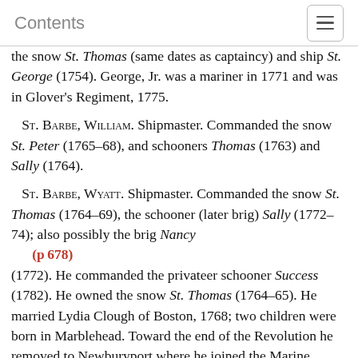Contents
the snow St. Thomas (same dates as captaincy) and ship St. George (1754). George, Jr. was a mariner in 1771 and was in Glover's Regiment, 1775.
St. Barbe, William. Shipmaster. Commanded the snow St. Peter (1765–68), and schooners Thomas (1763) and Sally (1764).
St. Barbe, Wyatt. Shipmaster. Commanded the snow St. Thomas (1764–69), the schooner (later brig) Sally (1772–74); also possibly the brig Nancy (p678) (1772). He commanded the privateer schooner Success (1782). He owned the snow St. Thomas (1764–65). He married Lydia Clough of Boston, 1768; two children were born in Marblehead. Toward the end of the Revolution he removed to Newburyport where he joined the Marine Society and ultimately became its Deputy-Master. His first